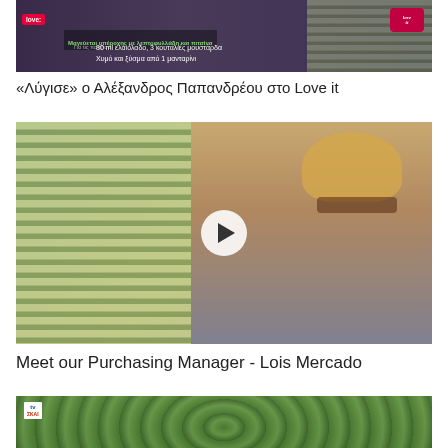[Figure (screenshot): TV show thumbnail from Love it channel showing recipe text overlay with ingredients in Greek: 80 ml ελαιόλαδο, 3 κουταλιές μουστάρδα / Χυμό και ξύσμα από 1 μανταρίνι]
«Λύγισε» ο Αλέξανδρος Παπανδρέου στο Love it
[Figure (screenshot): Video thumbnail showing an older woman with curly blonde hair and glasses, wearing a grey shirt, seated in front of window blinds with a play button overlay in the center]
Meet our Purchasing Manager - Lois Mercado
[Figure (screenshot): Partial thumbnail showing green foliage/trees with a TV logo badge in upper left corner]